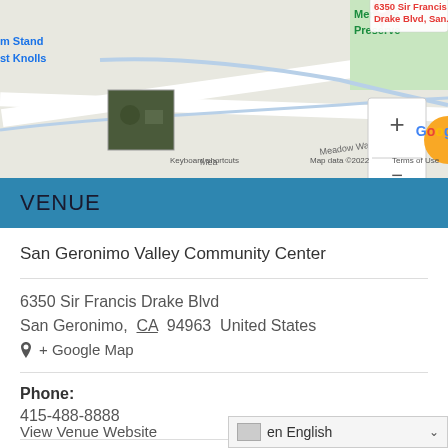[Figure (map): Google Maps screenshot showing location pin at 6350 Sir Francis Drake Blvd, San... with map controls (+ and - zoom buttons), a small satellite thumbnail, Google logo, and text: Keyboard shortcuts, Map data ©2022, Terms of Use]
VENUE
San Geronimo Valley Community Center
6350 Sir Francis Drake Blvd
San Geronimo,  CA  94963  United States
+ Google Map
Phone: 415-488-8888
View Venue Website
en English